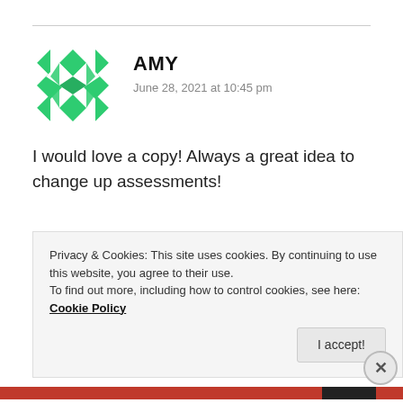[Figure (logo): Green geometric diamond/star pattern avatar icon for user Amy]
AMY
June 28, 2021 at 10:45 pm
I would love a copy! Always a great idea to change up assessments!
★ Liked by 1 person
👍 0 👎 0 ℹ Rate This
REPLY
Privacy & Cookies: This site uses cookies. By continuing to use this website, you agree to their use.
To find out more, including how to control cookies, see here: Cookie Policy
I accept!